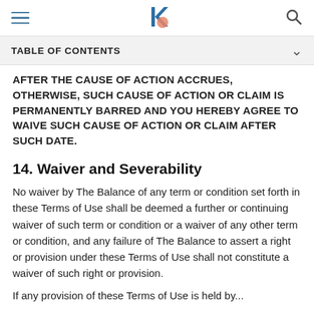[Navigation header with hamburger menu, The Balance logo, and search icon]
TABLE OF CONTENTS
AFTER THE CAUSE OF ACTION ACCRUES, OTHERWISE, SUCH CAUSE OF ACTION OR CLAIM IS PERMANENTLY BARRED AND YOU HEREBY AGREE TO WAIVE SUCH CAUSE OF ACTION OR CLAIM AFTER SUCH DATE.
14. Waiver and Severability
No waiver by The Balance of any term or condition set forth in these Terms of Use shall be deemed a further or continuing waiver of such term or condition or a waiver of any other term or condition, and any failure of The Balance to assert a right or provision under these Terms of Use shall not constitute a waiver of such right or provision.
If any provision of these Terms of Use is held by...